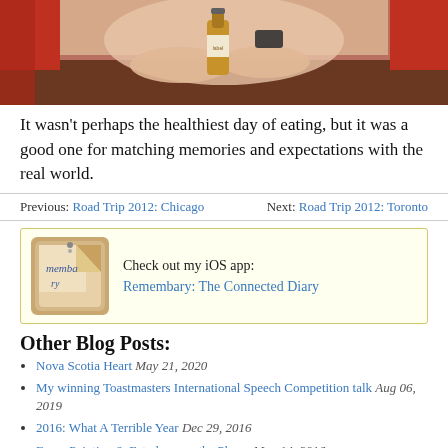[Figure (photo): Photo of a person's hands at a restaurant table with a beer bottle, red chairs visible in background]
It wasn't perhaps the healthiest day of eating, but it was a good one for matching memories and expectations with the real world.
Previous: Road Trip 2012: Chicago   Next: Road Trip 2012: Toronto
Check out my iOS app: Remembary: The Connected Diary
Other Blog Posts:
Nova Scotia Heart May 21, 2020
My winning Toastmasters International Speech Competition talk Aug 06, 2019
2016: What A Terrible Year Dec 29, 2016
FramePainting 6: Esterhase on the Phone May 14, 2016
FramePainting 5: The Orange Room May 11, 2016